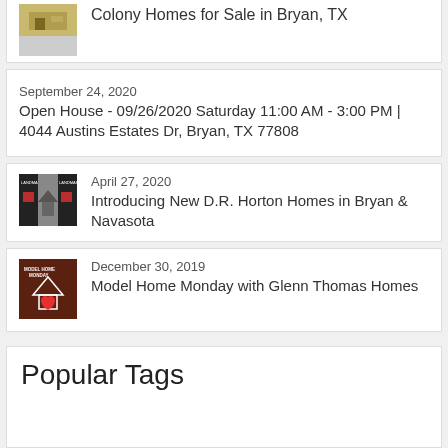Colony Homes for Sale in Bryan, TX
September 24, 2020
Open House - 09/26/2020 Saturday 11:00 AM - 3:00 PM | 4044 Austins Estates Dr, Bryan, TX 77808
April 27, 2020
Introducing New D.R. Horton Homes in Bryan & Navasota
December 30, 2019
Model Home Monday with Glenn Thomas Homes
Popular Tags